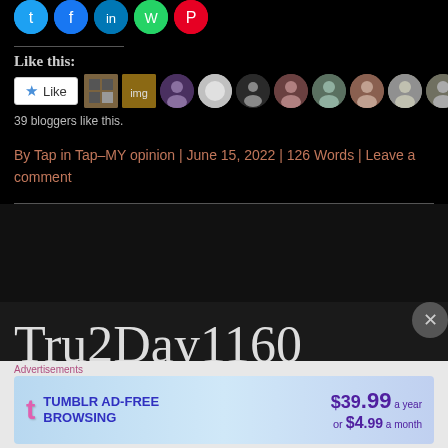[Figure (other): Social share icon buttons: Twitter (blue), Facebook (blue), LinkedIn (dark blue), WhatsApp (green), Pinterest (red)]
Like this:
[Figure (other): Like button and avatar strip showing 10 blogger profile photos. 39 bloggers like this.]
39 bloggers like this.
By Tap in Tap–MY opinion | June 15, 2022 | 126 Words | Leave a comment
Tru2Day1160
Fall in love with taking care of yourself.
[Figure (other): Tumblr Ad-Free Browsing advertisement banner: $39.99 a year or $4.99 a month]